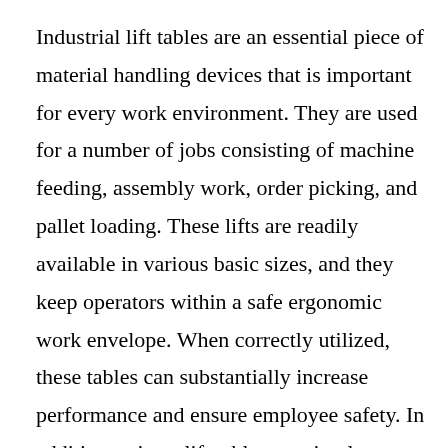Industrial lift tables are an essential piece of material handling devices that is important for every work environment. They are used for a number of jobs consisting of machine feeding, assembly work, order picking, and pallet loading. These lifts are readily available in various basic sizes, and they keep operators within a safe ergonomic work envelope. When correctly utilized, these tables can substantially increase performance and ensure employee safety. In addition, scissor lift tables are simple devices that can help you move parts and